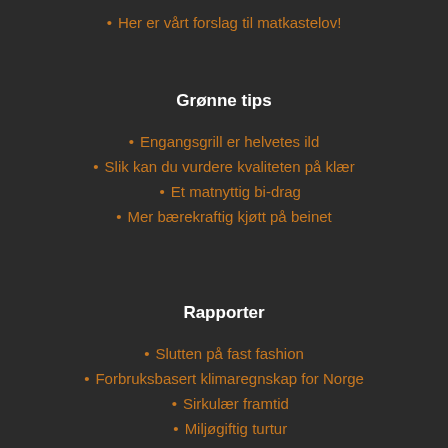Her er vårt forslag til matkastelov!
Grønne tips
Engangsgrill er helvetes ild
Slik kan du vurdere kvaliteten på klær
Et matnyttig bi-drag
Mer bærekraftig kjøtt på beinet
Rapporter
Slutten på fast fashion
Forbruksbasert klimaregnskap for Norge
Sirkulær framtid
Miljøgiftig turtur